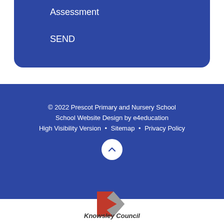Assessment
SEND
© 2022 Prescot Primary and Nursery School
School Website Design by e4education
High Visibility Version • Sitemap • Privacy Policy
[Figure (logo): Knowsley Council logo with red and grey triangular K shape and italic bold text 'Knowsley Council']